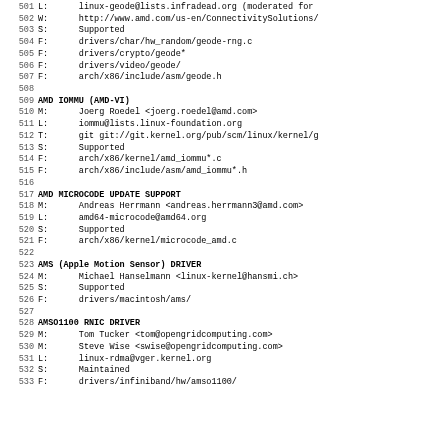501 L:   linux-geode@lists.infradead.org (moderated for
502 W:   http://www.amd.com/us-en/ConnectivitySolutions/
503 S:   Supported
504 F:   drivers/char/hw_random/geode-rng.c
505 F:   drivers/crypto/geode*
506 F:   drivers/video/geode/
507 F:   arch/x86/include/asm/geode.h
508
509 AMD IOMMU (AMD-VI)
510 M:   Joerg Roedel <joerg.roedel@amd.com>
511 L:   iommu@lists.linux-foundation.org
512 T:   git git://git.kernel.org/pub/scm/linux/kernel/g
513 S:   Supported
514 F:   arch/x86/kernel/amd_iommu*.c
515 F:   arch/x86/include/asm/amd_iommu*.h
516
517 AMD MICROCODE UPDATE SUPPORT
518 M:   Andreas Herrmann <andreas.herrmann3@amd.com>
519 L:   amd64-microcode@amd64.org
520 S:   Supported
521 F:   arch/x86/kernel/microcode_amd.c
522
523 AMS (Apple Motion Sensor) DRIVER
524 M:   Michael Hanselmann <linux-kernel@hansmi.ch>
525 S:   Supported
526 F:   drivers/macintosh/ams/
527
528 AMSO1100 RNIC DRIVER
529 M:   Tom Tucker <tom@opengridcomputing.com>
530 M:   Steve Wise <swise@opengridcomputing.com>
531 L:   linux-rdma@vger.kernel.org
532 S:   Maintained
533 F:   drivers/infiniband/hw/amso1100/